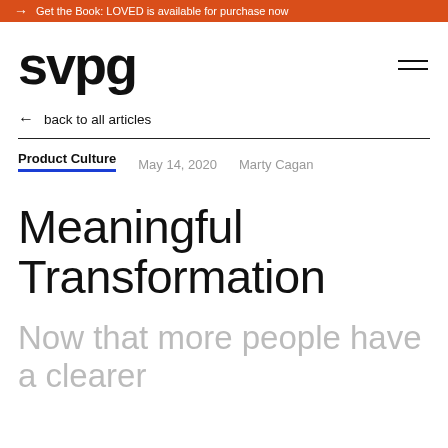→ Get the Book: LOVED is available for purchase now
svpg
← back to all articles
Product Culture   May 14, 2020   Marty Cagan
Meaningful Transformation
Now that more people have a clearer